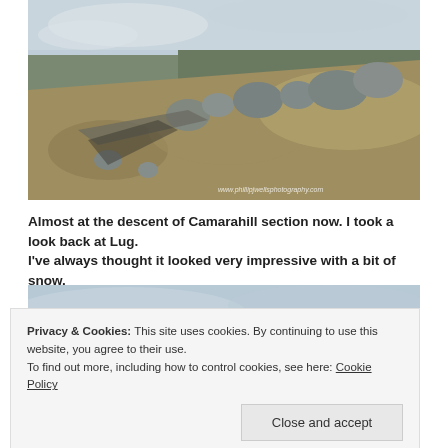[Figure (photo): Landscape photograph of a rocky hillside with dry grass and scattered boulders under a cloudy sky. Watermark reads www.phillipjwellsphotography.com]
Almost at the descent of Camarahill section now. I took a look back at Lug. I've always thought it looked very impressive with a bit of snow.
[Figure (photo): Partial view of a second landscape photograph showing sky and hills, partially obscured by cookie banner.]
Privacy & Cookies: This site uses cookies. By continuing to use this website, you agree to their use.
To find out more, including how to control cookies, see here: Cookie Policy
Close and accept